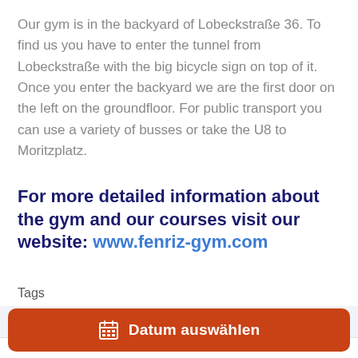Our gym is in the backyard of Lobeckstraße 36. To find us you have to enter the tunnel from Lobeckstraße with the big bicycle sign on top of it. Once you enter the backyard we are the first door on the left on the groundfloor. For public transport you can use a variety of busses or take the U8 to Moritzplatz.
For more detailed information about the gym and our courses visit our website: www.fenriz-gym.com
Tags
Kostenlos
Datum auswählen